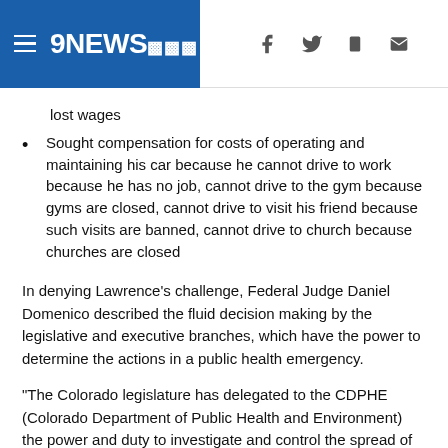[Figure (logo): 9NEWS NBC affiliate logo with hamburger menu icon in blue header bar, with social media icons (Facebook, Twitter, mobile, email) on the right]
lost wages
Sought compensation for costs of operating and maintaining his car because he cannot drive to work because he has no job, cannot drive to the gym because gyms are closed, cannot drive to visit his friend because such visits are banned, cannot drive to church because churches are closed
In denying Lawrence's challenge, Federal Judge Daniel Domenico described the fluid decision making by the legislative and executive branches, which have the power to determine the actions in a public health emergency.
"The Colorado legislature has delegated to the CDPHE (Colorado Department of Public Health and Environment) the power and duty to investigate and control the spread of disease during an emergency epidemic. It has vested in the governor the power and duty to declare such an